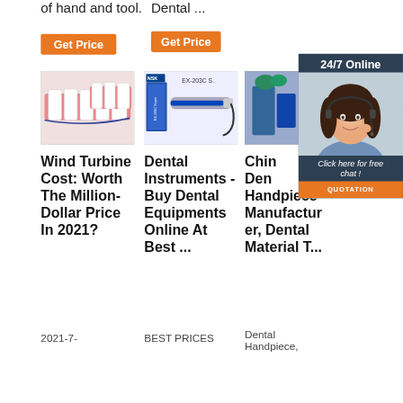of hand and tool.
Dental ...
Get Price
Get Price
[Figure (photo): Dental tools and teeth model image]
[Figure (photo): NSK EX-203C dental handpiece product photo]
[Figure (photo): Blue dental equipment/handpiece photo]
[Figure (photo): Customer service agent with headset - 24/7 Online chat widget]
Wind Turbine Cost: Worth The Million-Dollar Price In 2021?
Dental Instruments - Buy Dental Equipments Online At Best ...
China Dental Handpiece Manufacturer, Dental Material T...
2021-7-
BEST PRICES
Dental Handpiece,
24/7 Online
Click here for free chat !
QUOTATION